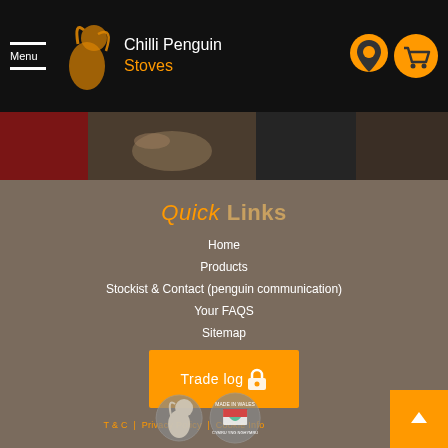Menu | Chilli Penguin Stoves
[Figure (screenshot): Hero image strip showing stove products and lifestyle photos]
Quick Links
Home
Products
Stockist & Contact (penguin communication)
Your FAQS
Sitemap
[Figure (logo): Trade Login orange button with lock icon]
T & C | Privacy Policy | Cookie Info
[Figure (logo): Chilli Penguin logo circle and Made in Wales badge]